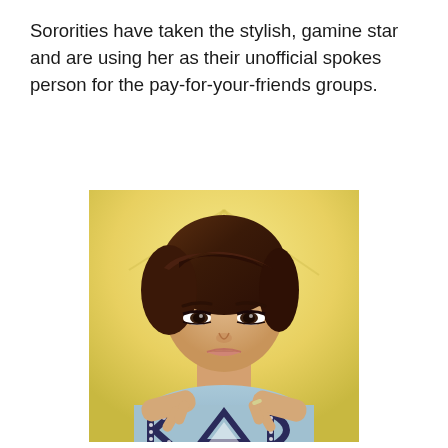Sororities have taken the stylish, gamine star and are using her as their unofficial spokes person for the pay-for-your-friends groups.
[Figure (photo): A stylish woman with a short dark pixie hairstyle wearing a light blue top, making a triangle/delta hand gesture with both hands in front of her chest. She has a flower near her ear and stands in front of what appears to be a yellow parasol/umbrella. The letters visible on her shirt appear to be sorority letters.]